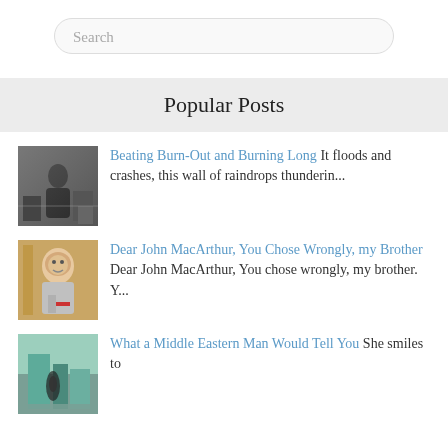Search
Popular Posts
Beating Burn-Out and Burning Long It floods and crashes, this wall of raindrops thunderin...
Dear John MacArthur, You Chose Wrongly, my Brother Dear John MacArthur, You chose wrongly, my brother. Y...
What a Middle Eastern Man Would Tell You She smiles to